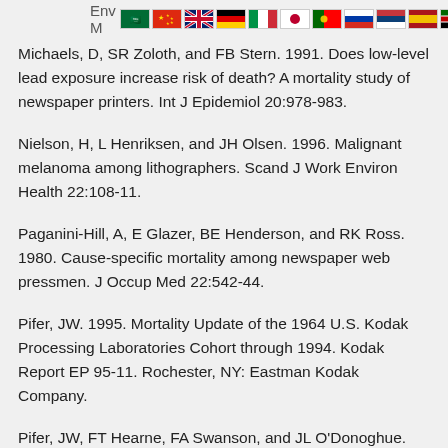Env M [flags]
Michaels, D, SR Zoloth, and FB Stern. 1991. Does low-level lead exposure increase risk of death? A mortality study of newspaper printers. Int J Epidemiol 20:978-983.
Nielson, H, L Henriksen, and JH Olsen. 1996. Malignant melanoma among lithographers. Scand J Work Environ Health 22:108-11.
Paganini-Hill, A, E Glazer, BE Henderson, and RK Ross. 1980. Cause-specific mortality among newspaper web pressmen. J Occup Med 22:542-44.
Pifer, JW. 1995. Mortality Update of the 1964 U.S. Kodak Processing Laboratories Cohort through 1994. Kodak Report EP 95-11. Rochester, NY: Eastman Kodak Company.
Pifer, JW, FT Hearne, FA Swanson, and JL O'Donoghue. 1995. Mortality study of employees engaged in the